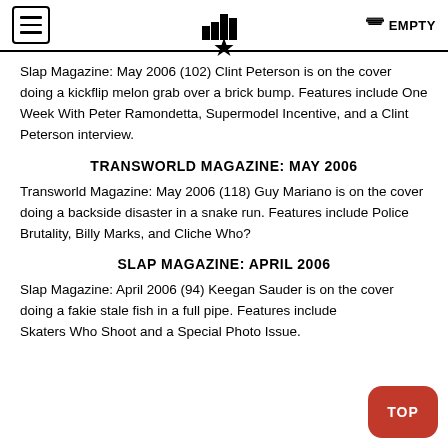EMPTY
Slap Magazine: May 2006 (102) Clint Peterson is on the cover doing a kickflip melon grab over a brick bump. Features include One Week With Peter Ramondetta, Supermodel Incentive, and a Clint Peterson interview.
TRANSWORLD MAGAZINE: MAY 2006
Transworld Magazine: May 2006 (118) Guy Mariano is on the cover doing a backside disaster in a snake run. Features include Police Brutality, Billy Marks, and Cliche Who?
SLAP MAGAZINE: APRIL 2006
Slap Magazine: April 2006 (94) Keegan Sauder is on the cover doing a fakie stale fish in a full pipe. Features include Skaters Who Shoot and a Special Photo Issue.